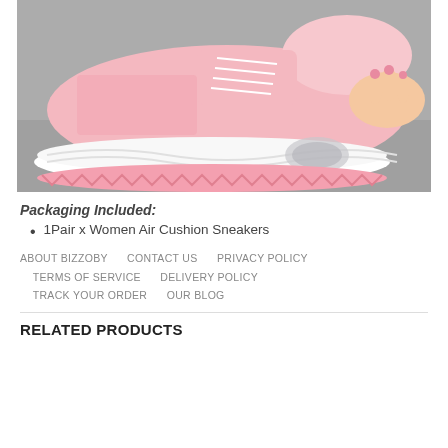[Figure (photo): Pink women's air cushion sneaker with white platform sole, shown on grey asphalt, held by a hand with painted nails]
Packaging Included:
1Pair x Women Air Cushion Sneakers
ABOUT BIZZOBY    CONTACT US    PRIVACY POLICY    TERMS OF SERVICE    DELIVERY POLICY    TRACK YOUR ORDER    OUR BLOG
RELATED PRODUCTS